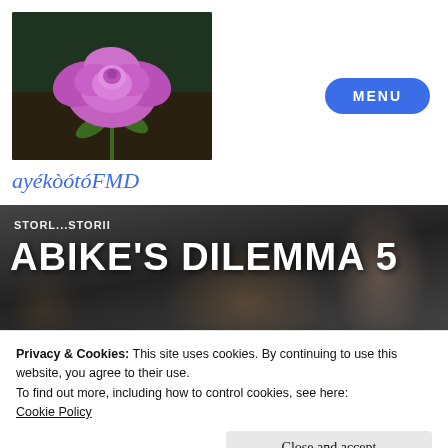[Figure (photo): A purple/lavender rose in bloom against a dark green and brown background]
MENU
ayékòótóFMD
[Figure (photo): Children playing, with overlaid text STORL...STORII and ABIKE'S DILEMMA 5]
Privacy & Cookies: This site uses cookies. By continuing to use this website, you agree to their use.
To find out more, including how to control cookies, see here:
Cookie Policy
Close and accept
means. This is an obvious lie. Only